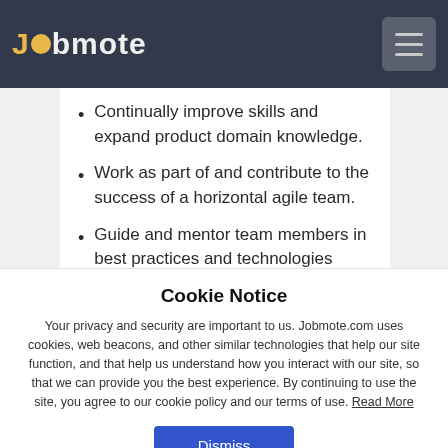Jobmote
Continually improve skills and expand product domain knowledge.
Work as part of and contribute to the success of a horizontal agile team.
Guide and mentor team members in best practices and technologies
Cookie Notice
Your privacy and security are important to us. Jobmote.com uses cookies, web beacons, and other similar technologies that help our site function, and that help us understand how you interact with our site, so that we can provide you the best experience. By continuing to use the site, you agree to our cookie policy and our terms of use. Read More
Dismiss